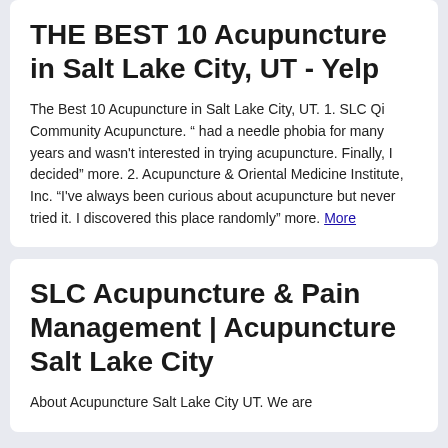THE BEST 10 Acupuncture in Salt Lake City, UT - Yelp
The Best 10 Acupuncture in Salt Lake City, UT. 1. SLC Qi Community Acupuncture. " had a needle phobia for many years and wasn't interested in trying acupuncture. Finally, I decided" more. 2. Acupuncture & Oriental Medicine Institute, Inc. “I've always been curious about acupuncture but never tried it. I discovered this place randomly” more. More
SLC Acupuncture & Pain Management | Acupuncture Salt Lake City
About Acupuncture Salt Lake City UT. We are